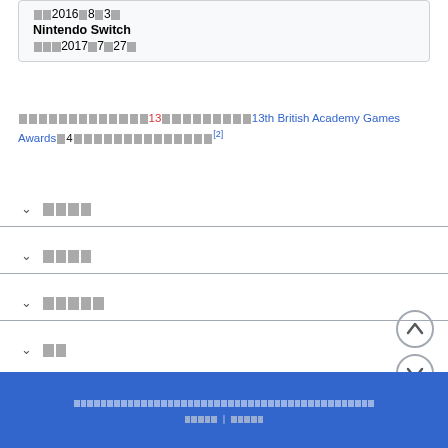Nintendo Switch release date box showing platform info and date 2016年8月3日 / Nintendo Switch / 北米版2017年7月27日
このゲームはメタスコアが13で各批評家に高評価を受けた。13th British Academy Games Awardsで4つのカテゴリにノミネートされ受賞した。[2]
ゲームプレイ
ストーリー
開発・発売
脚注
このウィキペディアの文章はCCライセンスのもとで提供されていますウィキペディアについて | 免責事項